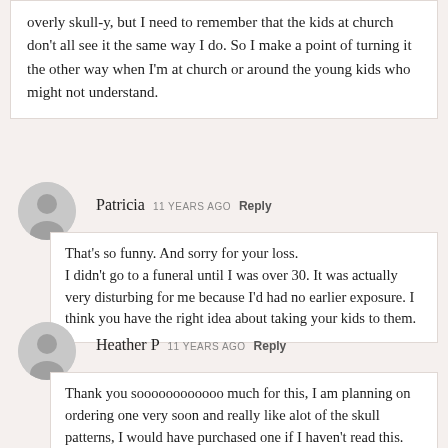overly skull-y, but I need to remember that the kids at church don't all see it the same way I do. So I make a point of turning it the other way when I'm at church or around the young kids who might not understand.
Patricia  11 YEARS AGO  Reply
That's so funny. And sorry for your loss. I didn't go to a funeral until I was over 30. It was actually very disturbing for me because I'd had no earlier exposure. I think you have the right idea about taking your kids to them.
Heather P  11 YEARS AGO  Reply
Thank you soooooooooooo much for this, I am planning on ordering one very soon and really like alot of the skull patterns, I would have purchased one if I haven't read this. Now now old I have